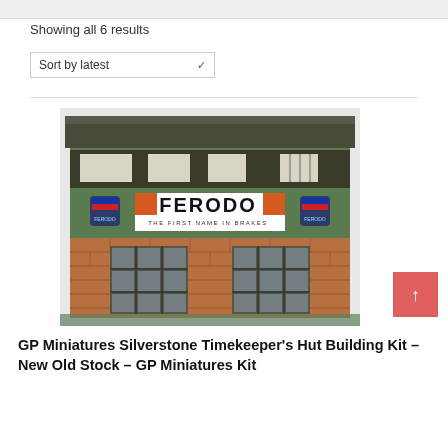Showing all 6 results
Sort by latest
[Figure (photo): A model/miniature building kit of the Silverstone Timekeeper's Hut, featuring a green upper facade with FERODO THE FIRST NAME IN BRAKES signage and orange brick lower section with windows.]
GP Miniatures Silverstone Timekeeper's Hut Building Kit – New Old Stock – GP Miniatures Kit